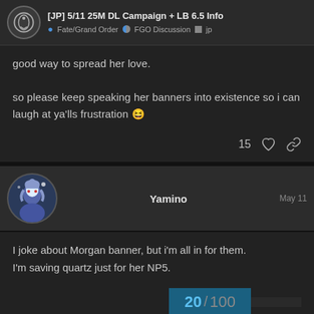[JP] 5/11 25M DL Campaign + LB 6.5 Info — Fate/Grand Order · FGO Discussion · jp
good way to spread her love.

so please keep speaking her banners into existence so i can laugh at ya'lls frustration 😆
15 ♡ 🔗
Yamino — May 11
I joke about Morgan banner, but i'm all in for them. I'm saving quartz just for her NP5.
20 / 100